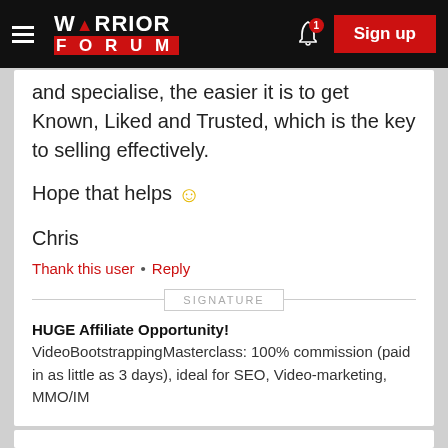Warrior Forum
and specialise, the easier it is to get Known, Liked and Trusted, which is the key to selling effectively.
Hope that helps 🙂
Chris
Thank this user • Reply
SIGNATURE
HUGE Affiliate Opportunity! VideoBootstrappingMasterclass: 100% commission (paid in as little as 3 days), ideal for SEO, Video-marketing, MMO/IM